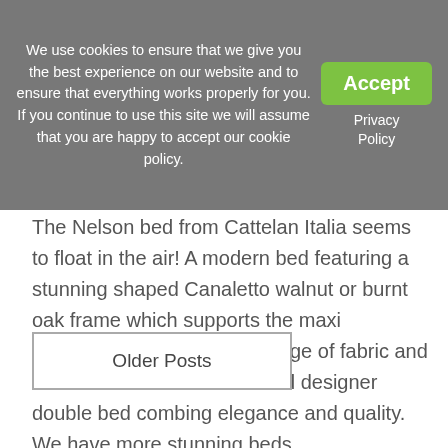We use cookies to ensure that we give you the best experience on our website and to ensure that everything works properly for you. If you continue to use this site we will assume that you are happy to accept our cookie policy.
Accept
Privacy Policy
The Nelson bed from Cattelan Italia seems to float in the air! A modern bed featuring a stunning shaped Canaletto walnut or burnt oak frame which supports the maxi headboard, available in a range of fabric and leather. The result is a refined designer double bed combing elegance and quality. We have more stunning beds …
More >
Older Posts